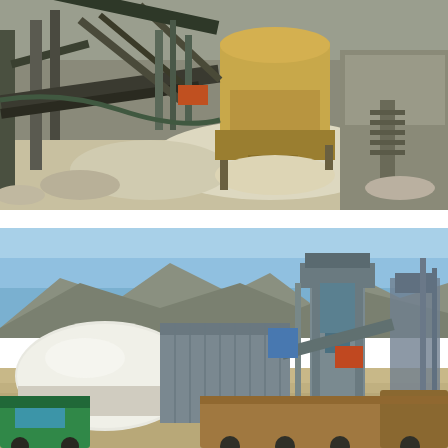[Figure (photo): Close-up photograph of heavy industrial mining/crushing equipment including a large cone crusher (tan/yellow colored) with conveyor belts, structural steel framework, and piles of crushed rock/sand material on the ground.]
[Figure (photo): Wide-angle photograph of an industrial mining processing plant facility set against rocky mountains and blue sky. The scene includes a large white dome-shaped storage structure, metal industrial buildings, conveyor systems, a tall processing tower with dust collection equipment, and a dump truck in the foreground on a rocky/dusty site.]